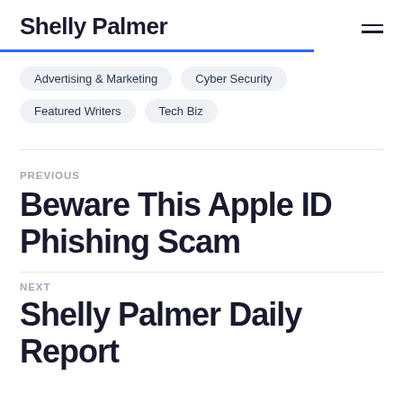Shelly Palmer
Advertising & Marketing
Cyber Security
Featured Writers
Tech Biz
PREVIOUS
Beware This Apple ID Phishing Scam
NEXT
Shelly Palmer Daily Report